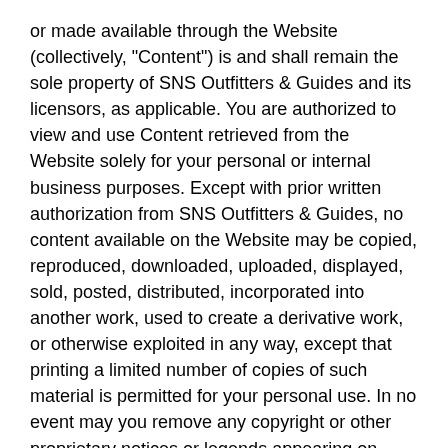or made available through the Website (collectively, "Content") is and shall remain the sole property of SNS Outfitters & Guides and its licensors, as applicable. You are authorized to view and use Content retrieved from the Website solely for your personal or internal business purposes. Except with prior written authorization from SNS Outfitters & Guides, no content available on the Website may be copied, reproduced, downloaded, uploaded, displayed, sold, posted, distributed, incorporated into another work, used to create a derivative work, or otherwise exploited in any way, except that printing a limited number of copies of such material is permitted for your personal use. In no event may you remove any copyright or other proprietary notices or legends appearing on Content made available at this site.
Trademarks: "SNS Outfitters & Guides" and the SNS Outfitters & Guides logo are trademarks of SNS